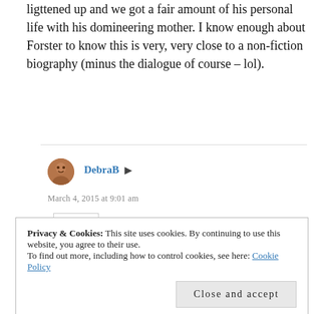ligttened up and we got a fair amount of his personal life with his domineering mother. I know enough about Forster to know this is very, very close to a non-fiction biography (minus the dialogue of course – lol).
Reply
DebraB
March 4, 2015 at 9:01 am
Privacy & Cookies: This site uses cookies. By continuing to use this website, you agree to their use.
To find out more, including how to control cookies, see here: Cookie Policy
Close and accept